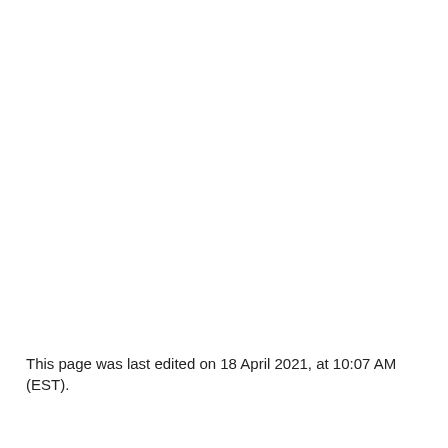This page was last edited on 18 April 2021, at 10:07 AM (EST).